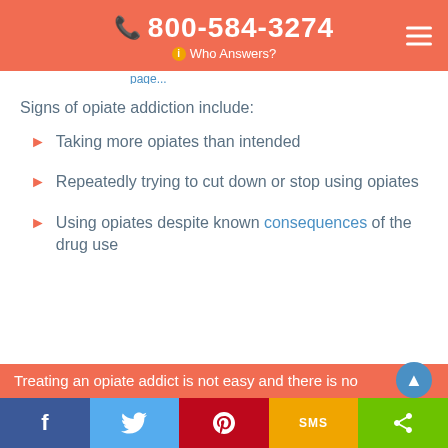📞 800-584-3274 Who Answers?
Signs of opiate addiction include:
Taking more opiates than intended
Repeatedly trying to cut down or stop using opiates
Using opiates despite known consequences of the drug use
Treating an opiate addict is not easy and there is no
f  [twitter]  [pinterest]  SMS  [share]